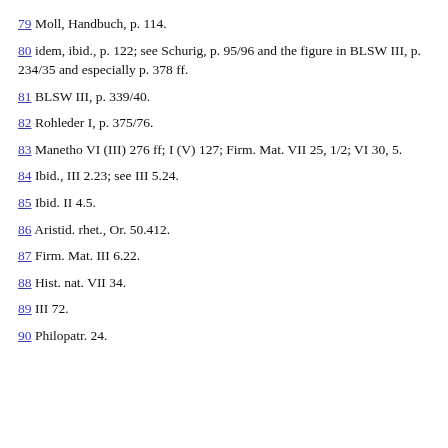79 Moll, Handbuch, p. 114.
80 idem, ibid., p. 122; see Schurig, p. 95/96 and the figure in BLSW III, p. 234/35 and especially p. 378 ff.
81 BLSW III, p. 339/40.
82 Rohleder I, p. 375/76.
83 Manetho VI (III) 276 ff; I (V) 127; Firm. Mat. VII 25, 1/2; VI 30, 5.
84 Ibid., III 2.23; see III 5.24.
85 Ibid. II 4.5.
86 Aristid. rhet., Or. 50.412.
87 Firm. Mat. III 6.22.
88 Hist. nat. VII 34.
89 III 72.
90 Philopatr. 24.